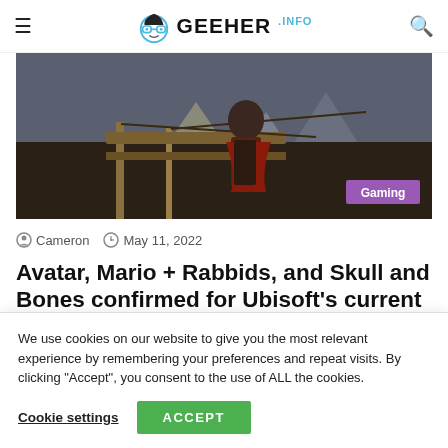GEEHER.INFO
[Figure (screenshot): Hero image showing a dark scene from a video game (Skull and Bones), with a character on a wooden structure against a mountainous background. A purple 'Gaming' badge appears in the bottom right.]
Cameron  May 11, 2022
Avatar, Mario + Rabbids, and Skull and Bones confirmed for Ubisoft's current
We use cookies on our website to give you the most relevant experience by remembering your preferences and repeat visits. By clicking "Accept", you consent to the use of ALL the cookies.
Cookie settings   ACCEPT